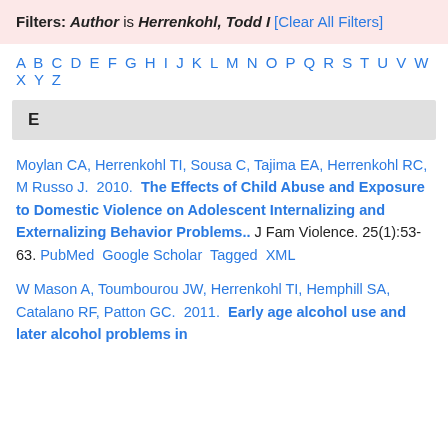Filters: Author is Herrenkohl, Todd I [Clear All Filters]
A B C D E F G H I J K L M N O P Q R S T U V W X Y Z
E
Moylan CA, Herrenkohl TI, Sousa C, Tajima EA, Herrenkohl RC, M Russo J. 2010. The Effects of Child Abuse and Exposure to Domestic Violence on Adolescent Internalizing and Externalizing Behavior Problems.. J Fam Violence. 25(1):53-63. PubMed Google Scholar Tagged XML
W Mason A, Toumbourou JW, Herrenkohl TI, Hemphill SA, Catalano RF, Patton GC. 2011. Early age alcohol use and later alcohol problems in